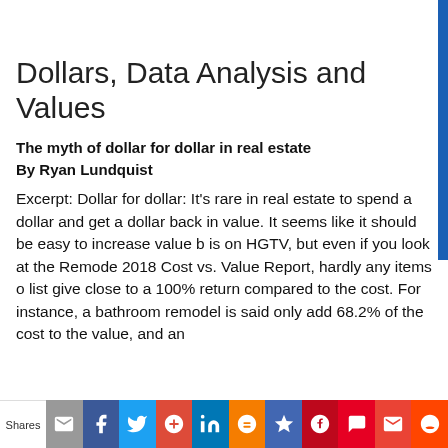Dollars, Data Analysis and Values
The myth of dollar for dollar in real estate
By Ryan Lundquist
Excerpt: Dollar for dollar: It's rare in real estate to spend a dollar and get a dollar back in value. It seems like it should be easy to increase value but is on HGTV, but even if you look at the Remode 2018 Cost vs. Value Report, hardly any items o list give close to a 100% return compared to the cost. For instance, a bathroom remodel is said only add 68.2% of the cost to the value, and an
Shares